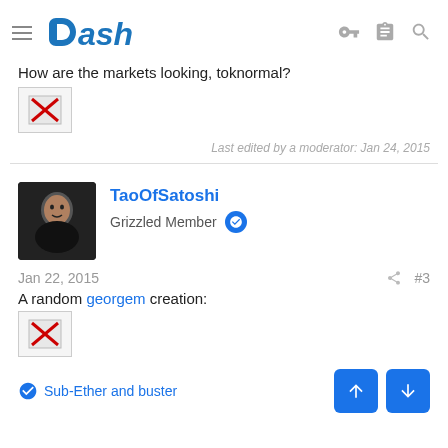Dash — navigation header
How are the markets looking, toknormal?
[Figure (other): Broken image placeholder with red X]
Last edited by a moderator: Jan 24, 2015
TaoOfSatoshi — Grizzled Member
Jan 22, 2015  #3
A random georgem creation:
[Figure (other): Broken image placeholder with red X]
Sub-Ether and buster